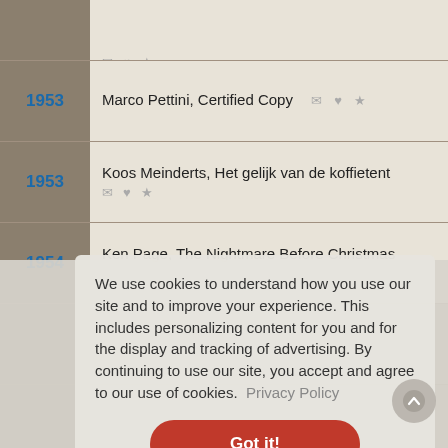1953 — Marco Pettini, Certified Copy
1953 — Koos Meinderts, Het gelijk van de koffietent
1954 — Ken Page, The Nightmare Before Christmas
We use cookies to understand how you use our site and to improve your experience. This includes personalizing content for you and for the display and tracking of advertising. By continuing to use our site, you accept and agree to our use of cookies. Privacy Policy
Got it!